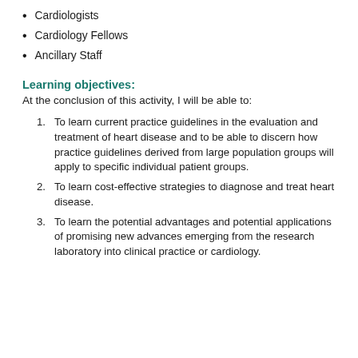Cardiologists
Cardiology Fellows
Ancillary Staff
Learning objectives:
At the conclusion of this activity, I will be able to:
To learn current practice guidelines in the evaluation and treatment of heart disease and to be able to discern how practice guidelines derived from large population groups will apply to specific individual patient groups.
To learn cost-effective strategies to diagnose and treat heart disease.
To learn the potential advantages and potential applications of promising new advances emerging from the research laboratory into clinical practice or cardiology.